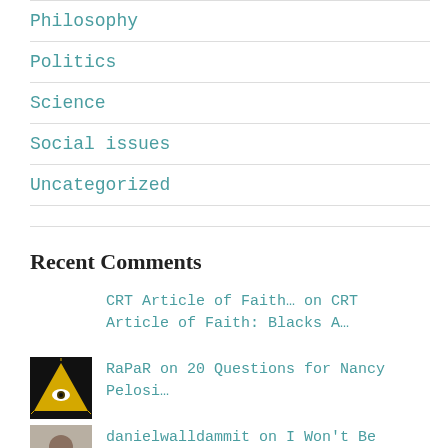Philosophy
Politics
Science
Social issues
Uncategorized
Recent Comments
CRT Article of Faith… on CRT Article of Faith: Blacks A…
RaPaR on 20 Questions for Nancy Pelosi…
danielwalldammit on I Won't Be